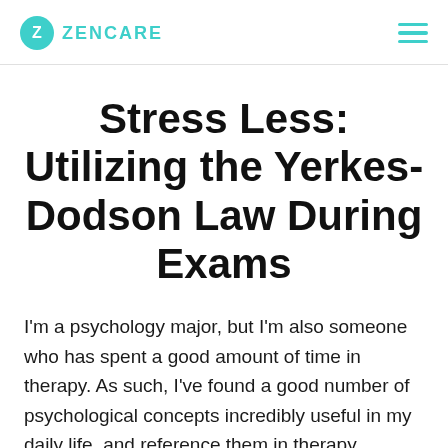Z ZENCARE
Stress Less: Utilizing the Yerkes-Dodson Law During Exams
I'm a psychology major, but I'm also someone who has spent a good amount of time in therapy. As such, I've found a good number of psychological concepts incredibly useful in my daily life, and reference them in therapy